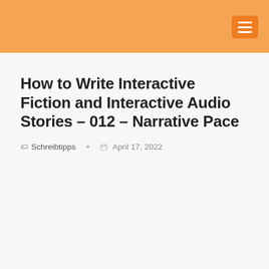How to Write Interactive Fiction and Interactive Audio Stories – 012 – Narrative Pace
Schreibtipps   April 17, 2022